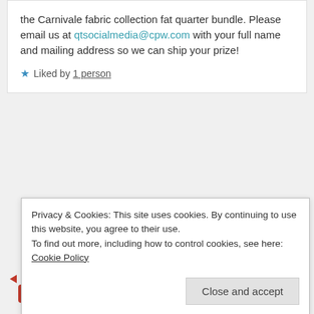the Carnivale fabric collection fat quarter bundle. Please email us at qtsocialmedia@cpw.com with your full name and mailing address so we can ship your prize!
★ Liked by 1 person
REPLY
Stacey Maxwell
FEBRUARY 10, 2018 AT 11:47 AM
Privacy & Cookies: This site uses cookies. By continuing to use this website, you agree to their use.
To find out more, including how to control cookies, see here: Cookie Policy
Close and accept
the color bling 😊